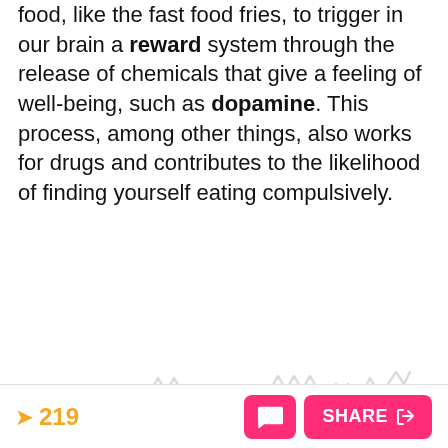food, like the fast food fries, to trigger in our brain a reward system through the release of chemicals that give a feeling of well-being, such as dopamine. This process, among other things, also works for drugs and contributes to the likelihood of finding yourself eating compulsively.
[Figure (illustration): Decorative background pattern of light gray squiggly zigzag lightning bolt symbols scattered across the lower portion of the page]
219  SHARE